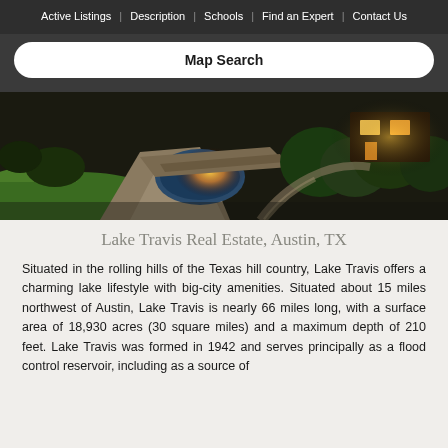Active Listings | Description | Schools | Find an Expert | Contact Us
Map Search
[Figure (photo): Aerial view of a luxury property with stone pathways, illuminated landscaping, water feature, and surrounding trees at dusk near Lake Travis, Austin, TX.]
Lake Travis Real Estate, Austin, TX
Situated in the rolling hills of the Texas hill country, Lake Travis offers a charming lake lifestyle with big-city amenities. Situated about 15 miles northwest of Austin, Lake Travis is nearly 66 miles long, with a surface area of 18,930 acres (30 square miles) and a maximum depth of 210 feet. Lake Travis was formed in 1942 and serves principally as a flood control reservoir, including as a source of